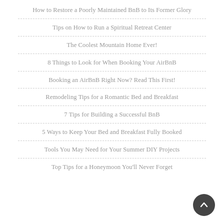How to Restore a Poorly Maintained BnB to Its Former Glory
Tips on How to Run a Spiritual Retreat Center
The Coolest Mountain Home Ever!
8 Things to Look for When Booking Your AirBnB
Booking an AirBnB Right Now? Read This First!
Remodeling Tips for a Romantic Bed and Breakfast
7 Tips for Building a Successful BnB
5 Ways to Keep Your Bed and Breakfast Fully Booked
Tools You May Need for Your Summer DIY Projects
Top Tips for a Honeymoon You'll Never Forget